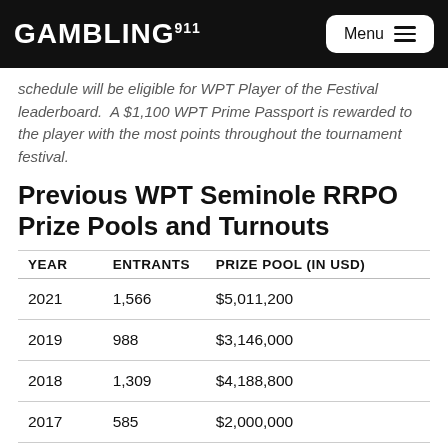GAMBLING911 Menu
schedule will be eligible for WPT Player of the Festival leaderboard. A $1,100 WPT Prime Passport is rewarded to the player with the most points throughout the tournament festival.
Previous WPT Seminole RRPO Prize Pools and Turnouts
| YEAR | ENTRANTS | PRIZE POOL (IN USD) |
| --- | --- | --- |
| 2021 | 1,566 | $5,011,200 |
| 2019 | 988 | $3,146,000 |
| 2018 | 1,309 | $4,188,800 |
| 2017 | 585 | $2,000,000 |
- Ace King, Gambling911.com